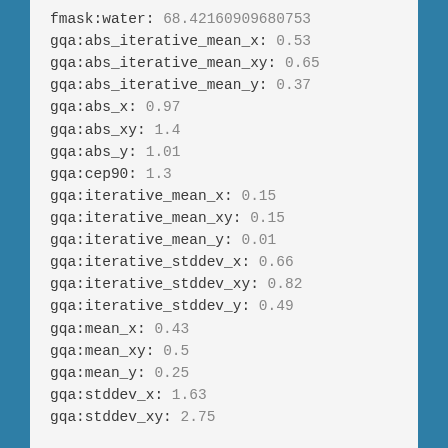fmask:water: 68.42160909680753
gqa:abs_iterative_mean_x: 0.53
gqa:abs_iterative_mean_xy: 0.65
gqa:abs_iterative_mean_y: 0.37
gqa:abs_x: 0.97
gqa:abs_xy: 1.4
gqa:abs_y: 1.01
gqa:cep90: 1.3
gqa:iterative_mean_x: 0.15
gqa:iterative_mean_xy: 0.15
gqa:iterative_mean_y: 0.01
gqa:iterative_stddev_x: 0.66
gqa:iterative_stddev_xy: 0.82
gqa:iterative_stddev_y: 0.49
gqa:mean_x: 0.43
gqa:mean_xy: 0.5
gqa:mean_y: 0.25
gqa:stddev_x: 1.63
gqa:stddev_xy: 2.75